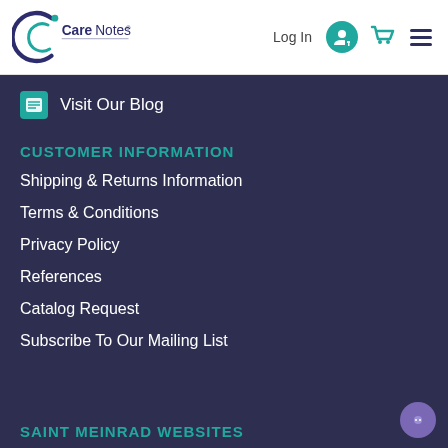[Figure (logo): CareNotes logo — stylized arc C with swirl, text CareNotes in dark purple]
Log In
[Figure (illustration): Teal circular login/user icon]
[Figure (illustration): Teal shopping cart icon]
[Figure (illustration): Dark purple hamburger menu icon (three horizontal lines)]
Visit Our Blog
CUSTOMER INFORMATION
Shipping & Returns Information
Terms & Conditions
Privacy Policy
References
Catalog Request
Subscribe To Our Mailing List
SAINT MEINRAD WEBSITES